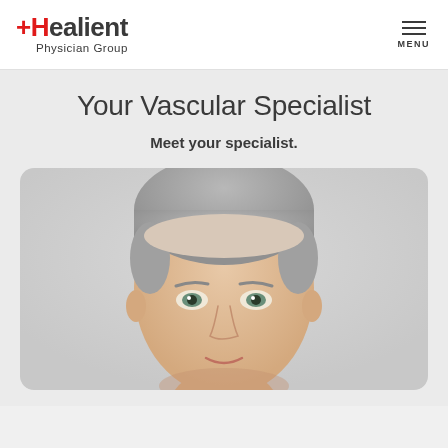Healient Physician Group — MENU
Your Vascular Specialist
Meet your specialist.
[Figure (photo): Headshot of a middle-aged male physician with short gray hair, light eyes, wearing no visible attire, neutral background, cropped from shoulders to top of head.]